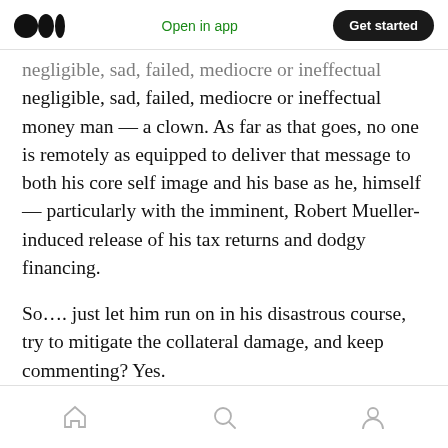Medium logo | Open in app | Get started
negligible, sad, failed, mediocre or ineffectual money man — a clown. As far as that goes, no one is remotely as equipped to deliver that message to both his core self image and his base as he, himself — particularly with the imminent, Robert Mueller-induced release of his tax returns and dodgy financing.
So…. just let him run on in his disastrous course, try to mitigate the collateral damage, and keep commenting? Yes.
Home | Search | Profile